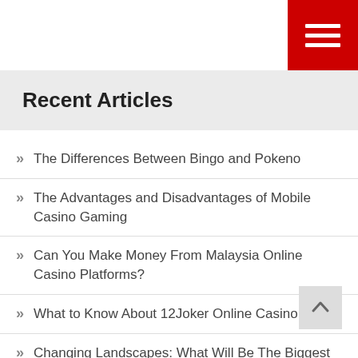[Figure (other): Red hamburger menu button with three white horizontal lines]
Recent Articles
The Differences Between Bingo and Pokeno
The Advantages and Disadvantages of Mobile Casino Gaming
Can You Make Money From Malaysia Online Casino Platforms?
What to Know About 12Joker Online Casino
Changing Landscapes: What Will Be The Biggest Online Games In 2023?
Five reasons why slots are a perfect choice for novice players
The Latest Top Tricks To Win At Bingo